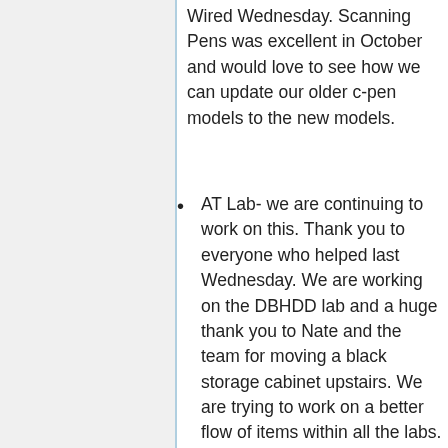Wired Wednesday. Scanning Pens was excellent in October and would love to see how we can update our older c-pen models to the new models.
AT Lab- we are continuing to work on this. Thank you to everyone who helped last Wednesday. We are working on the DBHDD lab and a huge thank you to Nate and the team for moving a black storage cabinet upstairs. We are trying to work on a better flow of items within all the labs. New labels have come in. Sanitization can be found in plastic bins in the downstairs lab, 2nd-floor lad, access lab aka Ciara's office, and the AAC lab. Items that no longer work have been marked obsolete and given to surplus. I am